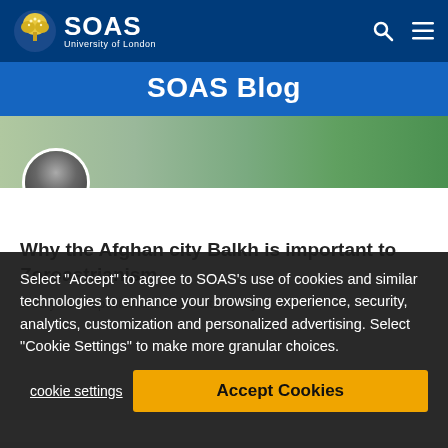SOAS University of London
SOAS Blog
[Figure (photo): Hero image of a building exterior with greenery, and a circular avatar portrait of a person]
Why the Afghan city Balkh is important to Zoroastrianism
A truly cosmopolitan and multicultural city
Select "Accept" to agree to SOAS's use of cookies and similar technologies to enhance your browsing experience, security, analytics, customization and personalized advertising. Select "Cookie Settings" to make more granular choices.
cookie settings
Accept Cookies